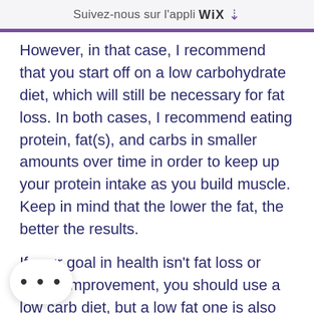Suivez-nous sur l'appli WIX ↓
However, in that case, I recommend that you start off on a low carbohydrate diet, which will still be necessary for fat loss. In both cases, I recommend eating protein, fat(s), and carbs in smaller amounts over time in order to keep up your protein intake as you build muscle. Keep in mind that the lower the fat, the better the results.
If your goal in health isn't fat loss or health improvement, you should use a low carb diet, but a low fat one is also an option. In fact, if the goal of your goal is healthy weight loss and better health, then you probably need to start on a low carb diet, but on the other hand, it's still a idea to eat a high fat, high protein and stick to that plan all the time.